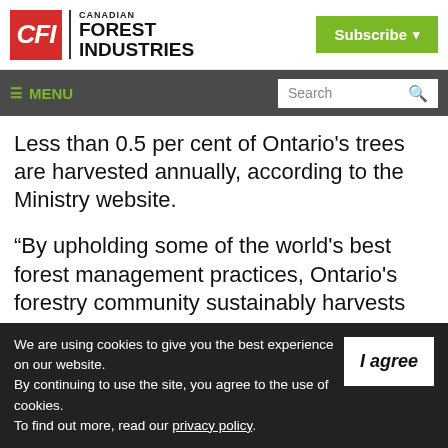[Figure (logo): Canadian Forest Industries (CFI) logo with red box containing CFI initials and text 'CANADIAN FOREST INDUSTRIES']
Subscribe
≡ MENU  Search
Less than 0.5 per cent of Ontario's trees are harvested annually, according to the Ministry website.
“By upholding some of the world's best forest management practices, Ontario's forestry community sustainably harvests
We are using cookies to give you the best experience on our website. By continuing to use the site, you agree to the use of cookies. To find out more, read our privacy policy.